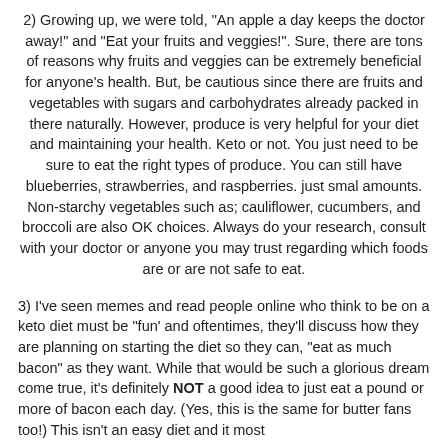2) Growing up, we were told, "An apple a day keeps the doctor away!" and "Eat your fruits and veggies!". Sure, there are tons of reasons why fruits and veggies can be extremely beneficial for anyone's health. But, be cautious since there are fruits and vegetables with sugars and carbohydrates already packed in there naturally. However, produce is very helpful for your diet and maintaining your health. Keto or not. You just need to be sure to eat the right types of produce. You can still have blueberries, strawberries, and raspberries. just smal amounts. Non-starchy vegetables such as; cauliflower, cucumbers, and broccoli are also OK choices. Always do your research, consult with your doctor or anyone you may trust regarding which foods are or are not safe to eat.
3) I've seen memes and read people online who think to be on a keto diet must be "fun' and oftentimes, they'll discuss how they are planning on starting the diet so they can, "eat as much bacon" as they want. While that would be such a glorious dream come true, it's definitely NOT a good idea to just eat a pound or more of bacon each day. (Yes, this is the same for butter fans too!) This isn't an easy diet and it most